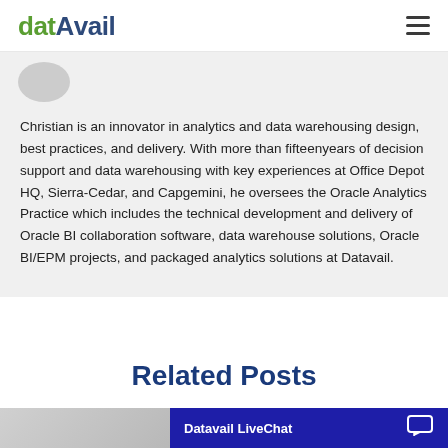datAvail
[Figure (photo): Partial circular avatar/profile photo visible at top left of bio section]
Christian is an innovator in analytics and data warehousing design, best practices, and delivery. With more than fifteenyears of decision support and data warehousing with key experiences at Office Depot HQ, Sierra-Cedar, and Capgemini, he oversees the Oracle Analytics Practice which includes the technical development and delivery of Oracle BI collaboration software, data warehouse solutions, Oracle BI/EPM projects, and packaged analytics solutions at Datavail.
Related Posts
[Figure (screenshot): Datavail LiveChat widget bar with chat bubble icon on dark blue background]